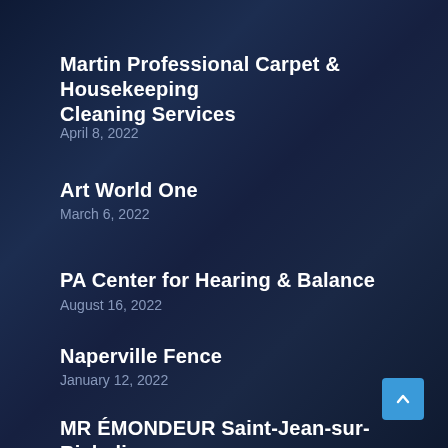Martin Professional Carpet & Housekeeping Cleaning Services
April 8, 2022
Art World One
March 6, 2022
PA Center for Hearing & Balance
August 16, 2022
Naperville Fence
January 12, 2022
MR ÉMONDEUR Saint-Jean-sur-Richelieu – ÉMONDAGE